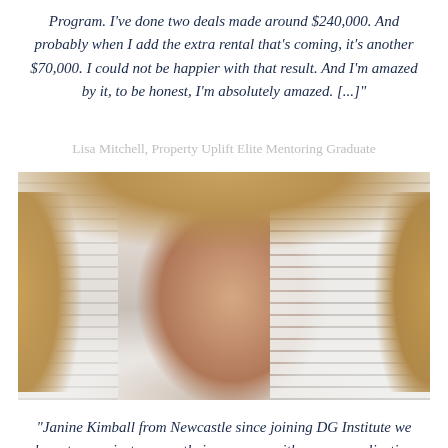Program. I've done two deals made around $240,000. And probably when I add the extra rental that's coming, it's another $70,000. I could not be happier with that result. And I'm amazed by it, to be honest, I'm absolutely amazed. [...]
Lisa Mitchell, Property Uplift Elite Mentoring Graduate
[Figure (photo): Photo of a woman with blonde hair speaking, white window blinds visible in background]
"Janine Kimball from Newcastle since joining DG Institute we have two projects currently in progress with a gross realization value of about 10 and a half million dollars